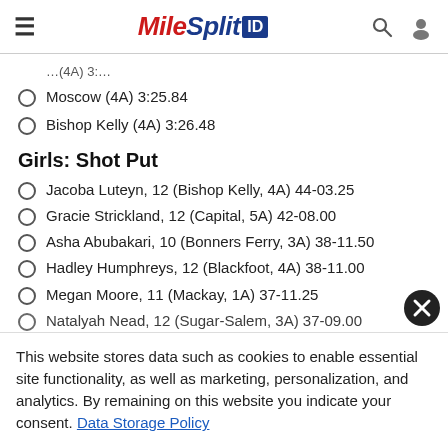MileSplit ID
Moscow (4A) 3:25.84
Bishop Kelly (4A) 3:26.48
Girls: Shot Put
Jacoba Luteyn, 12 (Bishop Kelly, 4A) 44-03.25
Gracie Strickland, 12 (Capital, 5A) 42-08.00
Asha Abubakari, 10 (Bonners Ferry, 3A) 38-11.50
Hadley Humphreys, 12 (Blackfoot, 4A) 38-11.00
Megan Moore, 11 (Mackay, 1A) 37-11.25
Natalyah Nead, 12 (Sugar-Salem, 3A) 37-09.00
This website stores data such as cookies to enable essential site functionality, as well as marketing, personalization, and analytics. By remaining on this website you indicate your consent. Data Storage Policy